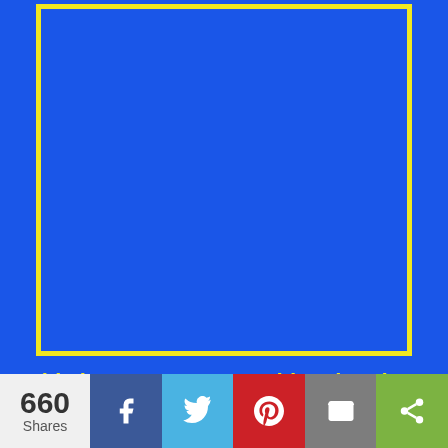[Figure (other): Blue rectangle with a yellow border outline inside, on a blue background]
This is a great way to add and update your website to the most popular whois records.
660 Shares | Facebook share | Twitter share | Pinterest share | Email share | Share